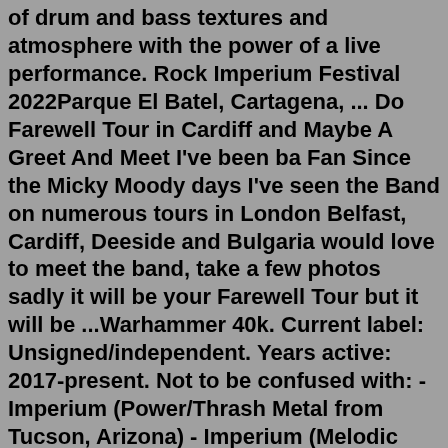of drum and bass textures and atmosphere with the power of a live performance. Rock Imperium Festival 2022Parque El Batel, Cartagena, ... Do Farewell Tour in Cardiff and Maybe A Greet And Meet I've been ba Fan Since the Micky Moody days I've seen the Band on numerous tours in London Belfast, Cardiff, Deeside and Bulgaria would love to meet the band, take a few photos sadly it will be your Farewell Tour but it will be ...Warhammer 40k. Current label: Unsigned/independent. Years active: 2017-present. Not to be confused with: - Imperium (Power/Thrash Metal from Tucson, Arizona) - Imperium (Melodic Death/Thrash Metal from Santa Cruz, California) - Imperium (Black/Death Metal from Ohio)A collection of common weapons used by the various military forces of the Imperium of Man. A collection of Space Marine heavy support weaponry dating from the era of the Great Crusade. This article contains a large, but not exhaustive, list of the various types of weaponry used by the Imperium in the Warhammer 40,000 universe. The various weapons, grouped